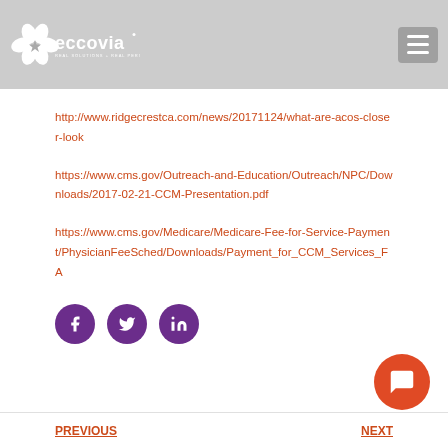[Figure (logo): Eccovia logo with flower/petal design and tagline 'REAL SOLUTIONS + REAL PERSON IMPACT' on grey header background]
http://www.ridgecrestca.com/news/20171124/what-are-acos-closer-look
https://www.cms.gov/Outreach-and-Education/Outreach/NPC/Downloads/2017-02-21-CCM-Presentation.pdf
https://www.cms.gov/Medicare/Medicare-Fee-for-Service-Payment/PhysicianFeeSched/Downloads/Payment_for_CCM_Services_FA
[Figure (illustration): Social media share icons: Facebook, Twitter, LinkedIn — purple circles with white icons]
[Figure (illustration): Orange chat button in bottom right corner]
PREVIOUS
NEXT